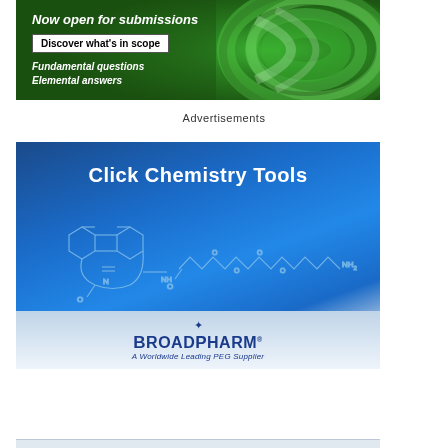[Figure (illustration): Green swirl/spiral abstract background with white text overlay. Headline: 'Now open for submissions', button: 'Discover what's in scope', subtext: 'Fundamental questions / Elemental answers']
Advertisements
[Figure (illustration): Blue gradient advertisement banner for BroadPharm. Title: 'Click Chemistry Tools'. Shows a chemical structure diagram (DBCO-PEG-NH2 molecule). Bottom section shows BroadPharm logo with tagline 'A Worldwide Leading PEG Supplier']